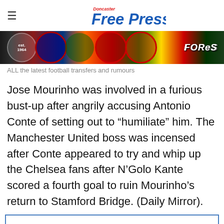Doncaster Free Press
[Figure (photo): Banner image showing football club badges/crests including Leeds United, Barcelona, Chelsea, Arsenal, and Nottingham Forest logos on a colorful background]
ALL the latest football transfers and rumours
Jose Mourinho was involved in a furious bust-up after angrily accusing Antonio Conte of setting out to “humiliate” him. The Manchester United boss was incensed after Conte appeared to try and whip up the Chelsea fans after N’Golo Kante scored a fourth goal to ruin Mourinho’s return to Stamford Bridge. (Daily Mirror).
Support quality local journalism
See 70% fewer ads with our ad-lite version. Try